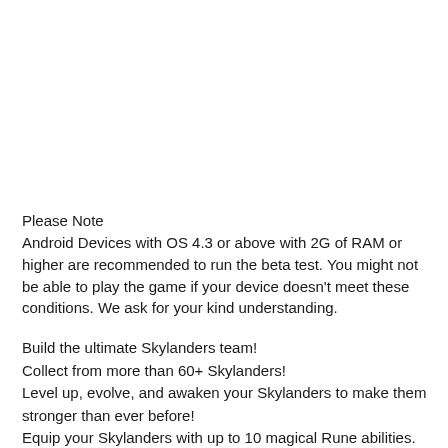Please Note
Android Devices with OS 4.3 or above with 2G of RAM or higher are recommended to run the beta test. You might not be able to play the game if your device doesn't meet these conditions. We ask for your kind understanding.
Build the ultimate Skylanders team!
Collect from more than 60+ Skylanders!
Level up, evolve, and awaken your Skylanders to make them stronger than ever before!
Equip your Skylanders with up to 10 magical Rune abilities.
Summon Skylanders and Villains alike to fight by your side!